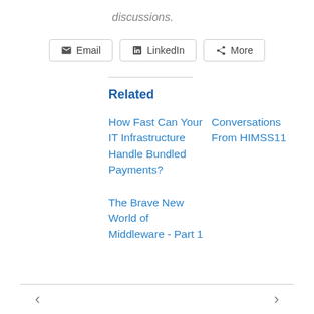discussions.
[Figure (other): Social share buttons: Email, LinkedIn, More]
Related
How Fast Can Your IT Infrastructure Handle Bundled Payments?
Conversations From HIMSS11
The Brave New World of Middleware - Part 1
< >